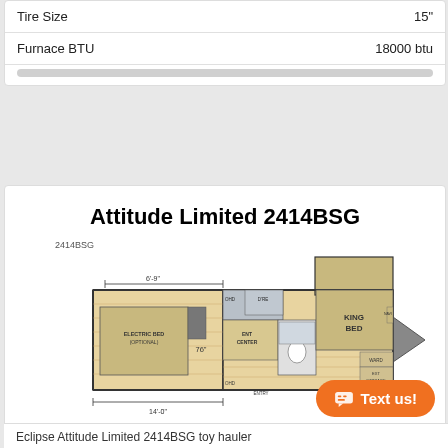| Spec | Value |
| --- | --- |
| Tire Size | 15" |
| Furnace BTU | 18000 btu |
Attitude Limited 2414BSG
2414BSG
[Figure (engineering-diagram): Floor plan diagram of Attitude Limited 2414BSG toy hauler RV showing layout with electric bed (optional) on left/garage area (14'-0" width, 6'-9" interior), kitchen/dinette center section with 76" marking, bathroom, and king bed on right side near hitch. Overhead bunk shown above.]
Eclipse Attitude Limited 2414BSG toy hauler